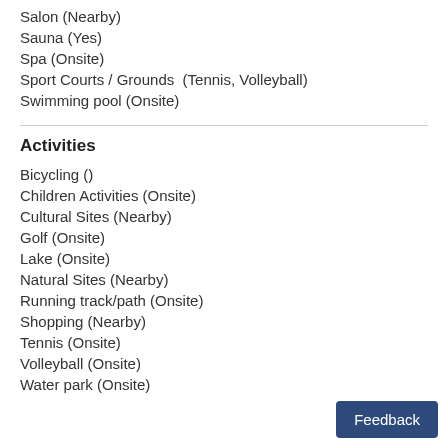Salon (Nearby)
Sauna (Yes)
Spa (Onsite)
Sport Courts / Grounds  (Tennis, Volleyball)
Swimming pool (Onsite)
Activities
Bicycling ()
Children Activities (Onsite)
Cultural Sites (Nearby)
Golf (Onsite)
Lake (Onsite)
Natural Sites (Nearby)
Running track/path (Onsite)
Shopping (Nearby)
Tennis (Onsite)
Volleyball (Onsite)
Water park (Onsite)
Feedback